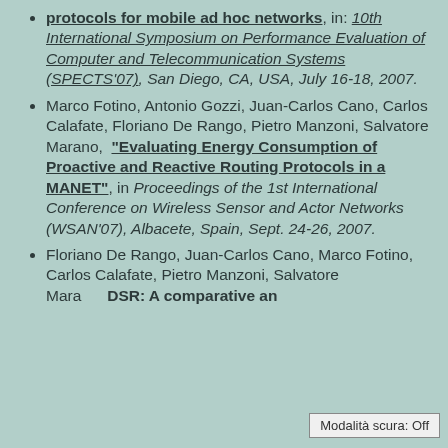protocols for mobile ad hoc networks", in: 10th International Symposium on Performance Evaluation of Computer and Telecommunication Systems (SPECTS'07), San Diego, CA, USA, July 16-18, 2007.
Marco Fotino, Antonio Gozzi, Juan-Carlos Cano, Carlos Calafate, Floriano De Rango, Pietro Manzoni, Salvatore Marano, "Evaluating Energy Consumption of Proactive and Reactive Routing Protocols in a MANET", in Proceedings of the 1st International Conference on Wireless Sensor and Actor Networks (WSAN'07), Albacete, Spain, Sept. 24-26, 2007.
Floriano De Rango, Juan-Carlos Cano, Marco Fotino, Carlos Calafate, Pietro Manzoni, Salvatore Marano, DSR: A comparative an...